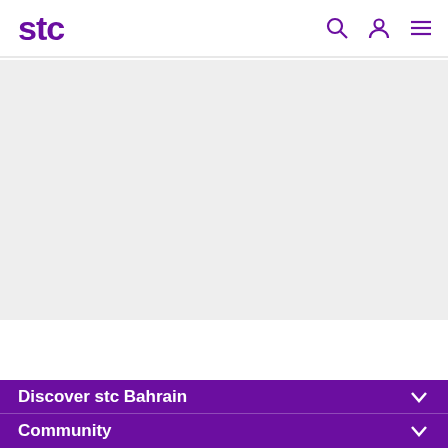stc — navigation bar with search, account, and menu icons
[Figure (other): Light grey hero/banner area below the navigation bar]
Discover stc Bahrain
Community